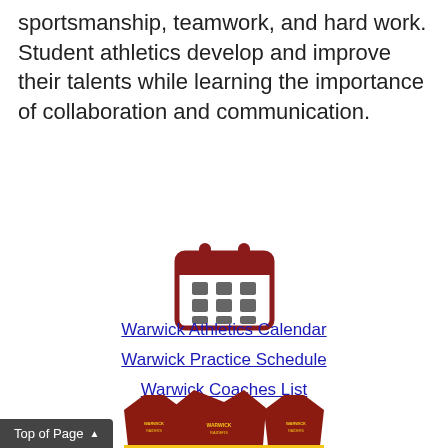sportsmanship, teamwork, and hard work. Student athletics develop and improve their talents while learning the importance of collaboration and communication.
[Figure (illustration): A dark red/maroon calendar icon with rounded calendar binding tabs at the top and a grid of gray squares representing days.]
Warwick Athletics Calendar
Warwick Practice Schedule
Warwick Coaches List
[Figure (photo): Three maroon t-shirts/sweatshirts with 'Warwick Raiders' text and logo, above a banner reading '100% CUSTOM WARWICK'.]
Top of Page ▲